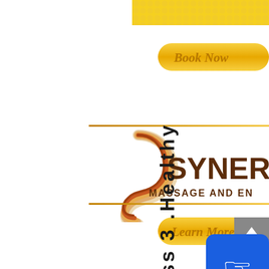[Figure (logo): Synergy Massage and Energy logo with swirling S symbol in brown and orange tones, with text SYNERGY and MASSAGE AND EN... partially visible]
[Figure (other): Book Now button with gold gradient, pill shaped, partially cut off on right]
[Figure (other): Learn More button with gold gradient, pill shaped, partially cut off on right]
class 3 .Healthy
[Figure (other): Blue touch/hand icon button in lower right corner]
[Figure (other): Gray scroll-up arrow button]